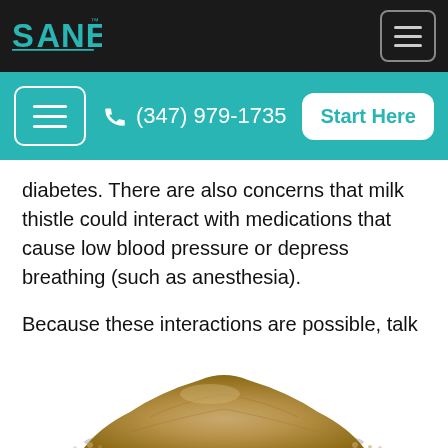SANE logo and navigation bar with phone (347) 979-1735 and Start Here button
diabetes. There are also concerns that milk thistle could interact with medications that cause low blood pressure or depress breathing (such as anesthesia).
Because these interactions are possible, talk to your healthcare provider before taking milk thistle if you take other medications on a regular basis.
[Figure (photo): Pile of ground herb powder (milk thistle) at the bottom of the page]